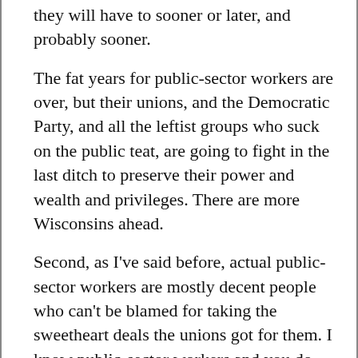they will have to sooner or later, and probably sooner.
The fat years for public-sector workers are over, but their unions, and the Democratic Party, and all the leftist groups who suck on the public teat, are going to fight in the last ditch to preserve their power and wealth and privileges. There are more Wisconsins ahead.
Second, as I've said before, actual public-sector workers are mostly decent people who can't be blamed for taking the sweetheart deals the unions got for them. I know public-sector workers and you do too. In post-industrial America, public-sector work is all the work there is with decent job security anbd a dependable pension; it's hard to blame people.
And there's been an implicit deal lurking behind the expansion of the